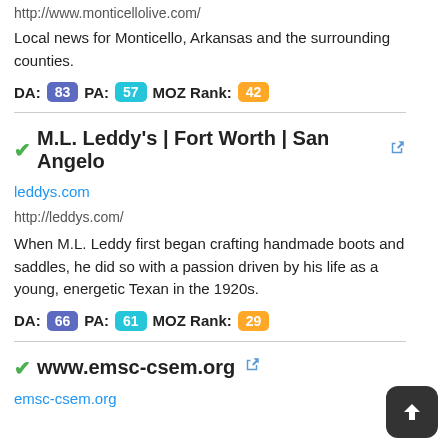http://www.monticellolive.com/
Local news for Monticello, Arkansas and the surrounding counties.
DA: 83  PA: 57  MOZ Rank: 42
M.L. Leddy's | Fort Worth | San Angelo
leddys.com
http://leddys.com/
When M.L. Leddy first began crafting handmade boots and saddles, he did so with a passion driven by his life as a young, energetic Texan in the 1920s.
DA: 66  PA: 61  MOZ Rank: 29
www.emsc-csem.org
emsc-csem.org